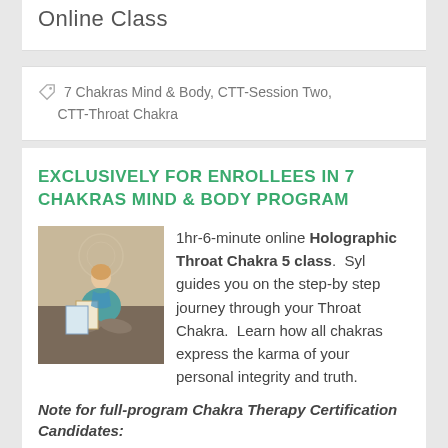Online Class
7 Chakras Mind & Body, CTT-Session Two, CTT-Throat Chakra
EXCLUSIVELY FOR ENROLLEES IN 7 CHAKRAS MIND & BODY PROGRAM
[Figure (photo): Woman sitting cross-legged holding certificates/documents, wearing teal/blue outfit, with chakra symbol on wall behind her]
1hr-6-minute online Holographic Throat Chakra 5 class.  Syl guides you on the step-by step journey through your Throat Chakra.  Learn how all chakras express the karma of your personal integrity and truth.
Note for full-program Chakra Therapy Certification Candidates:
Syl recommends using ear-phones for the...